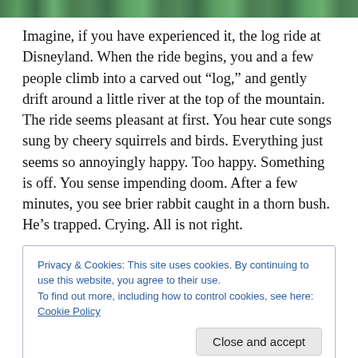[Figure (photo): Decorative green foliage/nature strip at top of page]
Imagine, if you have experienced it, the log ride at Disneyland. When the ride begins, you and a few people climb into a carved out “log,” and gently drift around a little river at the top of the mountain. The ride seems pleasant at first. You hear cute songs sung by cheery squirrels and birds. Everything just seems so annoyingly happy. Too happy. Something is off. You sense impending doom. After a few minutes, you see brier rabbit caught in a thorn bush. He’s trapped. Crying. All is not right.
Privacy & Cookies: This site uses cookies. By continuing to use this website, you agree to their use.
To find out more, including how to control cookies, see here: Cookie Policy
Close and accept
Before you is what seems like a 1,000 foot incline,